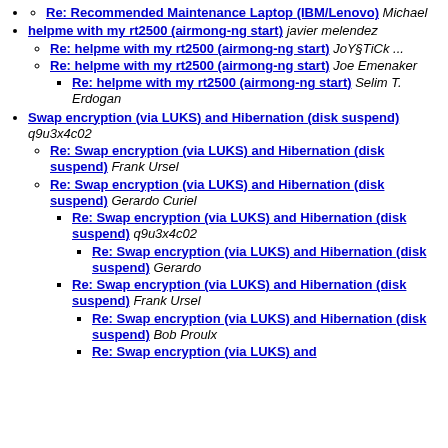Re: Recommended Maintenance Laptop (IBM/Lenovo) Michael
helpme with my rt2500 (airmong-ng start) javier melendez
Re: helpme with my rt2500 (airmong-ng start) JoY§TiCk ...
Re: helpme with my rt2500 (airmong-ng start) Joe Emenaker
Re: helpme with my rt2500 (airmong-ng start) Selim T. Erdogan
Swap encryption (via LUKS) and Hibernation (disk suspend) q9u3x4c02
Re: Swap encryption (via LUKS) and Hibernation (disk suspend) Frank Ursel
Re: Swap encryption (via LUKS) and Hibernation (disk suspend) Gerardo Curiel
Re: Swap encryption (via LUKS) and Hibernation (disk suspend) q9u3x4c02
Re: Swap encryption (via LUKS) and Hibernation (disk suspend) Gerardo
Re: Swap encryption (via LUKS) and Hibernation (disk suspend) Frank Ursel
Re: Swap encryption (via LUKS) and Hibernation (disk suspend) Bob Proulx
Re: Swap encryption (via LUKS) and Hibernation (disk suspend)